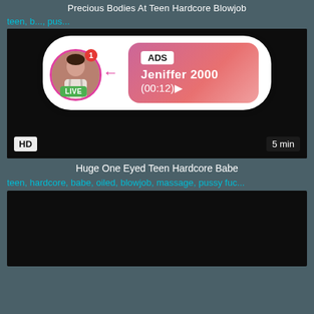Precious Bodies At Teen Hardcore Blowjob
teen, b..., pus...
[Figure (screenshot): Video player showing black/dark content with HD badge and 5 min duration label. An ad overlay shows a live notification bubble with a profile photo, LIVE badge, notification dot, ADS label, name Jeniffer 2000, and timestamp (00:12).]
Huge One Eyed Teen Hardcore Babe
teen, hardcore, babe, oiled, blowjob, massage, pussy fuc...
[Figure (screenshot): Second video player showing dark/black content, partially visible at bottom of page.]